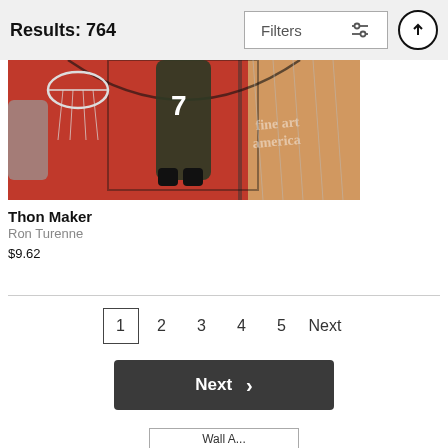Results: 764
[Figure (screenshot): Basketball court aerial photo showing player number 7 near hoop, red court, with Fine Art America watermark]
Thon Maker
Ron Turenne
$9.62
1  2  3  4  5  Next
Next >
Wall Art